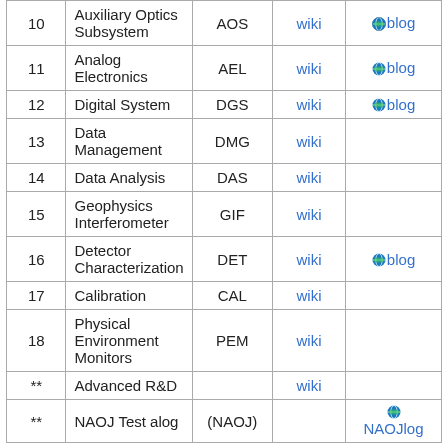| # | Name | Abbr | wiki | blog |
| --- | --- | --- | --- | --- |
| 10 | Auxiliary Optics Subsystem | AOS | wiki | blog |
| 11 | Analog Electronics | AEL | wiki | blog |
| 12 | Digital System | DGS | wiki | blog |
| 13 | Data Management | DMG | wiki |  |
| 14 | Data Analysis | DAS | wiki |  |
| 15 | Geophysics Interferometer | GIF | wiki |  |
| 16 | Detector Characterization | DET | wiki | blog |
| 17 | Calibration | CAL | wiki |  |
| 18 | Physical Environment Monitors | PEM | wiki |  |
| ** | Advanced R&D |  | wiki |  |
| ** | NAOJ Test alog | (NAOJ) |  | NAOJlog |
| # | Name | link |
| --- | --- | --- |
| ** | KAGRA Stock in Shelfs | Info Page |